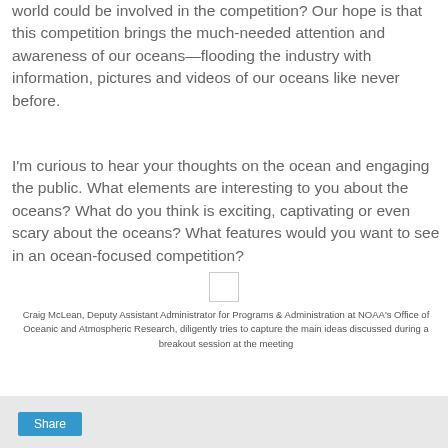world could be involved in the competition? Our hope is that this competition brings the much-needed attention and awareness of our oceans—flooding the industry with information, pictures and videos of our oceans like never before.
I'm curious to hear your thoughts on the ocean and engaging the public. What elements are interesting to you about the oceans? What do you think is exciting, captivating or even scary about the oceans? What features would you want to see in an ocean-focused competition?
[Figure (photo): Small placeholder image box]
Craig McLean, Deputy Assistant Administrator for Programs & Administration at NOAA's Office of Oceanic and Atmospheric Research, diligently tries to capture the main ideas discussed during a breakout session at the meeting